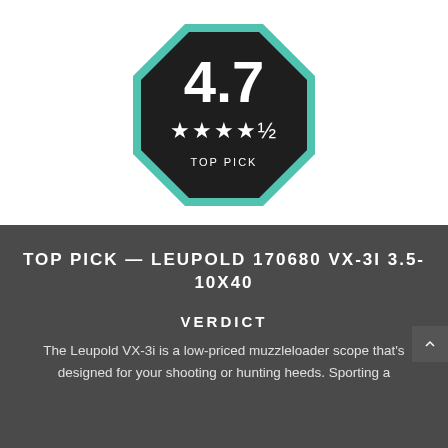[Figure (infographic): Octagon badge with teal border on dark background showing rating 4.7, four-and-a-half stars, and label TOP PICK]
TOP PICK — LEUPOLD 170680 VX-3I 3.5-10X40
VERDICT
The Leupold VX-3i is a low-priced muzzleloader scope that's designed for your shooting or hunting heeds. Sporting a